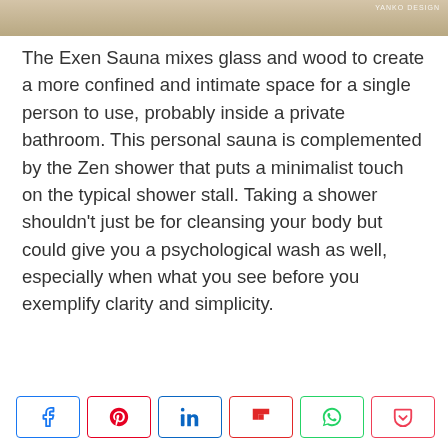[Figure (photo): Partial view of a wooden sauna or bathroom fixture, with YANKO DESIGN watermark in top right corner]
The Exen Sauna mixes glass and wood to create a more confined and intimate space for a single person to use, probably inside a private bathroom. This personal sauna is complemented by the Zen shower that puts a minimalist touch on the typical shower stall. Taking a shower shouldn't just be for cleansing your body but could give you a psychological wash as well, especially when what you see before you exemplify clarity and simplicity.
[Figure (infographic): Social sharing buttons: Facebook, Pinterest, LinkedIn, Flipboard, WhatsApp, Pocket, and a share count showing 21 SHARES]